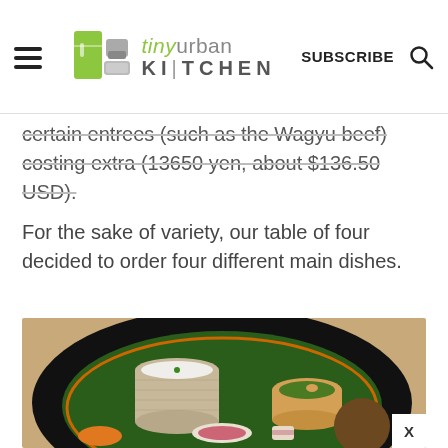tiny urban KITCHEN — SUBSCRIBE
certain entrees (such as the Wagyu beef) costing extra (13650 yen, about $136.50 USD).
For the sake of variety, our table of four decided to order four different main dishes.
[Figure (photo): A traditional Japanese kaiseki meal served on a black lacquer round tray with green leaf liner, featuring multiple small dishes including a ceramic cup with white tofu or chawanmushi, a small bowl with green vegetable preparation topped with a pine nut, a bowl with pickled red cabbage, a brown round item, and orange-colored food pieces.]